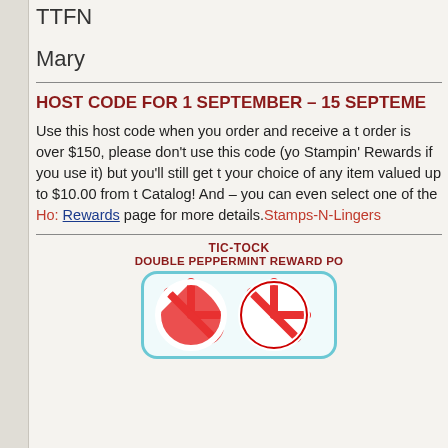TTFN
Mary
HOST CODE FOR 1 SEPTEMBER – 15 SEPTEMBER
Use this host code when you order and receive a t order is over $150, please don't use this code (yo Stampin' Rewards if you use it) but you'll still get t your choice of any item valued up to $10.00 from t Catalog! And – you can even select one of the Host Rewards page for more details. Stamps-N-Lingers
TIC-TOCK
DOUBLE PEPPERMINT REWARD PO
[Figure (illustration): Two red and white peppermint candy swirls inside a rounded teal-bordered box]